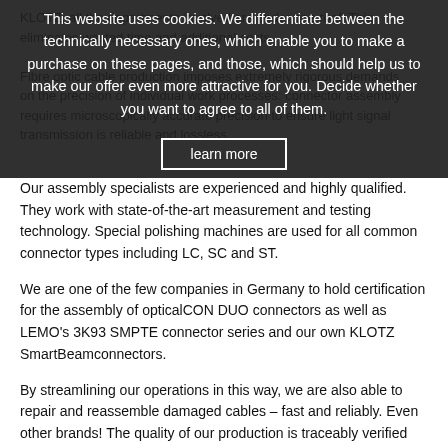KLOTZ, all the departments involved are under one roof. This eliminates wasted time and additional costs. Fibre optic cable production imposes extremely rigorous demands on the precision of individual work processes: connector assembly requires microscopically accurate precision to ensure light signal transmission is reliable and lossless.
This website uses cookies. We differentiate between the technically necessary ones, which enable you to make a purchase on these pages, and those, which should help us to make our offer even more attractive for you. Decide whether you want to agree to all of them.
learn more
Our assembly specialists are experienced and highly qualified. They work with state-of-the-art measurement and testing technology. Special polishing machines are used for all common connector types including LC, SC and ST.
We are one of the few companies in Germany to hold certification for the assembly of opticalCON DUO connectors as well as LEMO's 3K93 SMPTE connector series and our own KLOTZ SmartBeamconnectors.
By streamlining our operations in this way, we are also able to repair and reassemble damaged cables – fast and reliably. Even other brands! The quality of our production is traceably verified and documented using state-of-the-art testing and measurement methods.